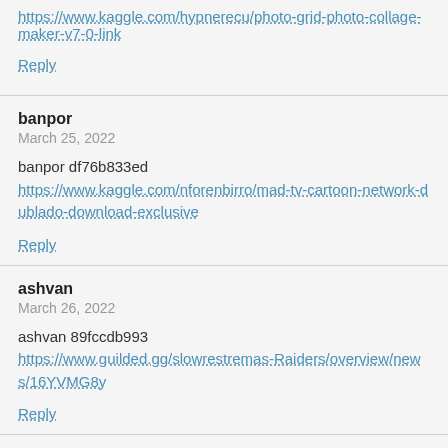https://www.kaggle.com/hypnerecu/photo-grid-photo-collage-maker-v7-0-link
Reply
banpor
March 25, 2022
banpor df76b833ed
https://www.kaggle.com/nforenbirro/mad-tv-cartoon-network-dublado-download-exclusive
Reply
ashvan
March 26, 2022
ashvan 89fccdb993
https://www.guilded.gg/slowrestremas-Raiders/overview/news/16YVMG8y
Reply
nervleti
March 26, 2022